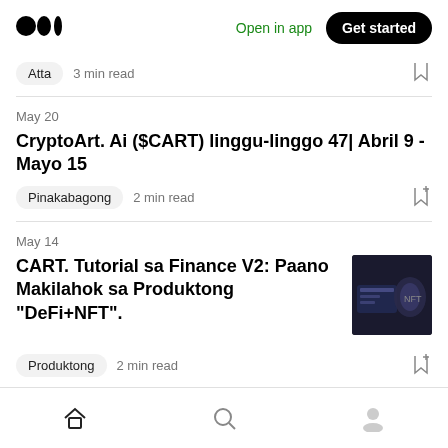Medium logo | Open in app | Get started
Atta  3 min read
May 20
CryptoArt. Ai ($CART) linggu-linggo 47| Abril 9 - Mayo 15
Pinakabagong  2 min read
May 14
CART. Tutorial sa Finance V2: Paano Makilahok sa Produktong "DeFi+NFT".
Produktong  2 min read
Home | Search | Profile